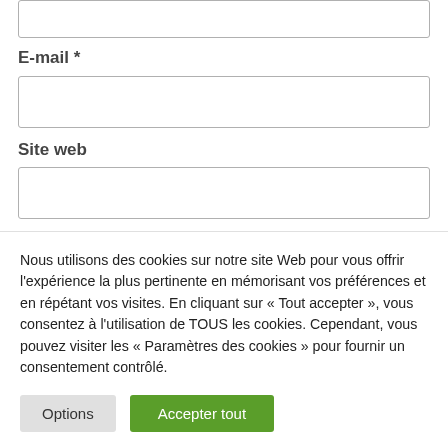[Figure (screenshot): Empty text input box at the top of the form]
E-mail *
[Figure (screenshot): Empty text input box for e-mail field]
Site web
[Figure (screenshot): Empty text input box for site web field]
[Figure (screenshot): Unchecked checkbox]
Enregistrer mon nom, mon e-mail et mon site dans le
Nous utilisons des cookies sur notre site Web pour vous offrir l'expérience la plus pertinente en mémorisant vos préférences et en répétant vos visites. En cliquant sur « Tout accepter », vous consentez à l'utilisation de TOUS les cookies. Cependant, vous pouvez visiter les « Paramètres des cookies » pour fournir un consentement contrôlé.
Options
Accepter tout